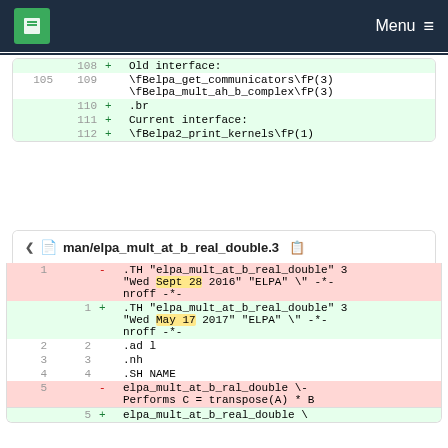MPCDF | Menu
| old | new | diff |
| --- | --- | --- |
|  | 108 | + Old interface: |
| 105 | 109 | \fBelpa_get_communicators\fP(3)  \fBelpa_mult_ah_b_complex\fP(3) |
|  | 110 | + .br |
|  | 111 | + Current interface: |
|  | 112 | + \fBelpa2_print_kernels\fP(1) |
man/elpa_mult_at_b_real_double.3
| old | new | diff |
| --- | --- | --- |
| 1 |  | - .TH "elpa_mult_at_b_real_double" 3 "Wed Sept 28 2016" "ELPA" \" -*-nroff -*- |
|  | 1 | + .TH "elpa_mult_at_b_real_double" 3 "Wed May 17 2017" "ELPA" \" -*-nroff -*- |
| 2 | 2 | .ad l |
| 3 | 3 | .nh |
| 4 | 4 | .SH NAME |
| 5 |  | - elpa_mult_at_b_ral_double \- Performs C = transpose(A) * B |
|  | 5 | + elpa_mult_at_b_real_double \ |